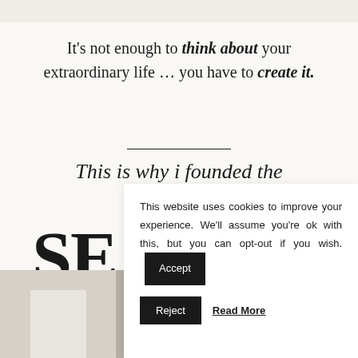It's not enough to think about your extraordinary life … you have to create it.
This is why i founded the
SE
[Figure (photo): Bottom strip showing three photo panels: a book/notebook on left, mixed items in middle, decorative items on right]
This website uses cookies to improve your experience. We'll assume you're ok with this, but you can opt-out if you wish.
Accept
Reject
Read More